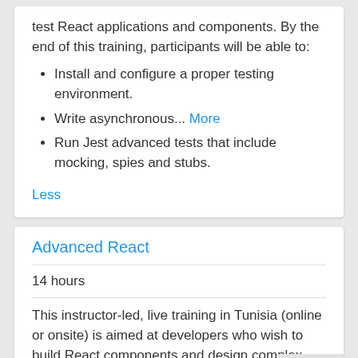test React applications and components. By the end of this training, participants will be able to:
Install and configure a proper testing environment.
Write asynchronous... More
Run Jest advanced tests that include mocking, spies and stubs.
Less
Advanced React
14 hours
This instructor-led, live training in Tunisia (online or onsite) is aimed at developers who wish to build React components and design complex applications. By the end of this training, participants will be able to: